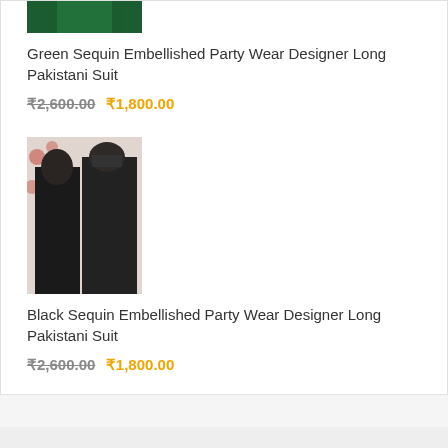[Figure (photo): Green dress product image thumbnail (partial, top cropped)]
Green Sequin Embellished Party Wear Designer Long Pakistani Suit
₹2,600.00 ₹1,800.00
[Figure (photo): Black Sequin Embellished Party Wear Designer Long Pakistani Suit product image showing two models in black gowns]
Black Sequin Embellished Party Wear Designer Long Pakistani Suit
₹2,600.00 ₹1,800.00
[Figure (illustration): Red delivery truck icon]
FREE HOME DELIVERY
On order over INR 500.00